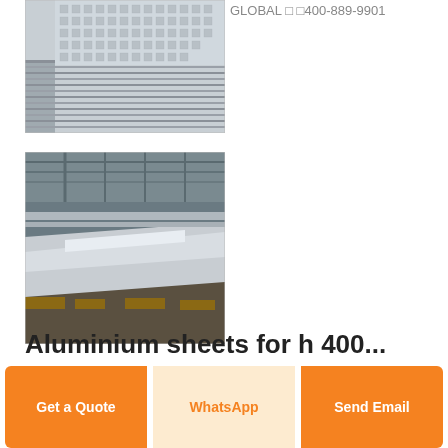[Figure (photo): Stack of aluminum checkered plates photographed from close angle showing textured diamond/checker pattern surface and stacked edges]
GLOBAL □ □400-889-9901
[Figure (photo): Industrial warehouse interior showing large stacks of flat aluminum/steel sheets on wooden pallets, with factory roof structure visible above]
Aluminium sheets for h 400...
Get a Quote
WhatsApp
Send Email